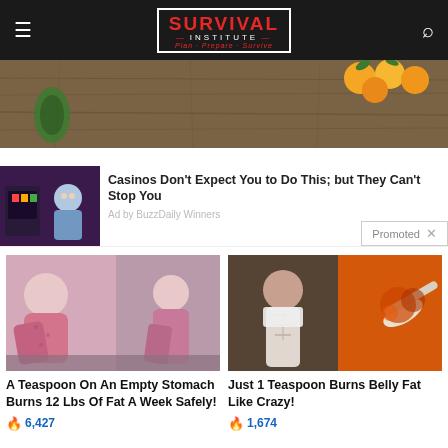SURVIVAL INSTITUTE — Plan · Prepare · Survive
[Figure (photo): Hero image of wooden table surface with avocados and oranges/citrus fruits arranged on it]
[Figure (photo): Advertisement thumbnail showing an older man in a blue shirt at a casino slot machine]
Casinos Don't Expect You to Do This; but They Can't Stop You
Ad by BuzzDaily Winners
Promoted ×
[Figure (photo): Two women in pink pajamas/loungewear sitting on a couch, before and after weight loss photo]
A Teaspoon On An Empty Stomach Burns 12 Lbs Of Fat A Week Safely!
🔥 6,427
[Figure (photo): Split image showing a fit woman lifting her shirt to reveal abs on the left, and a spoon with spices/turmeric on the right]
Just 1 Teaspoon Burns Belly Fat Like Crazy!
🔥 1,674